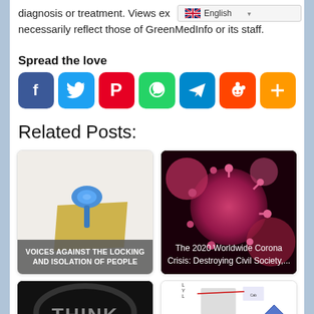diagnosis or treatment. Views expressed in this article do not necessarily reflect those of GreenMedInfo or its staff.
[Figure (screenshot): Language selector dropdown showing UK flag and 'English' text]
Spread the love
[Figure (infographic): Social media share buttons: Facebook (blue), Twitter (blue), Pinterest (red), WhatsApp (green), Telegram (blue), Reddit (red-orange), More (orange/yellow)]
Related Posts:
[Figure (illustration): Card showing thumbtack/pushpin illustration with text overlay: VOICES AGAINST THE LOCKING AND ISOLATION OF PEOPLE]
[Figure (photo): Card showing pink coronavirus microscopy image with text: The 2020 Worldwide Corona Crisis: Destroying Civil Society,...]
[Figure (screenshot): Card showing THINK logo dark background with text: EXCERPT FROM 2009]
[Figure (infographic): Card showing diagram with people photos (Mark Sedwill, Andy Pryce) and UK government logos with red arrows indicating connections. Blue upward arrow in corner.]